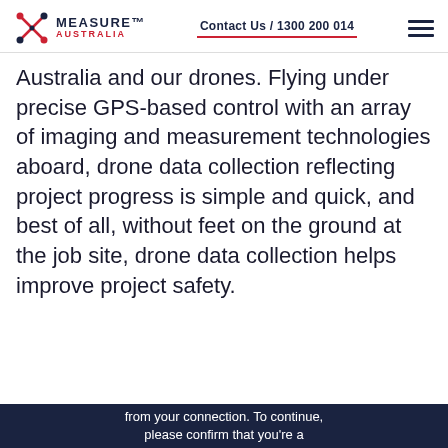MEASURE AUSTRALIA | Contact Us / 1300 200 014
Australia and our drones. Flying under precise GPS-based control with an array of imaging and measurement technologies aboard, drone data collection reflecting project progress is simple and quick, and best of all, without feet on the ground at the job site, drone data collection helps improve project safety.
from your connection. To continue, please confirm that you’re a